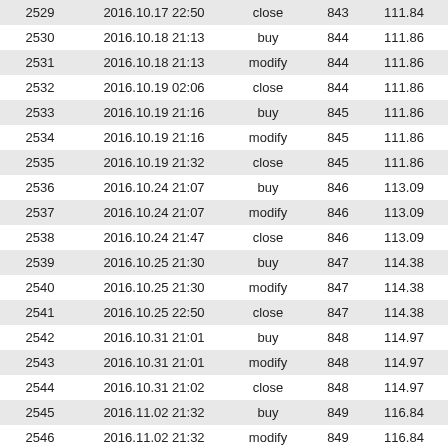|  | Date/Time | Action | Order | Price |  |
| --- | --- | --- | --- | --- | --- |
| 2529 | 2016.10.17 22:50 | close | 843 | 111.84 | 1.4 |
| 2530 | 2016.10.18 21:13 | buy | 844 | 111.86 | 1.4 |
| 2531 | 2016.10.18 21:13 | modify | 844 | 111.86 | 1.4 |
| 2532 | 2016.10.19 02:06 | close | 844 | 111.86 | 1.4 |
| 2533 | 2016.10.19 21:16 | buy | 845 | 111.86 | 1.4 |
| 2534 | 2016.10.19 21:16 | modify | 845 | 111.86 | 1.4 |
| 2535 | 2016.10.19 21:32 | close | 845 | 111.86 | 1.4 |
| 2536 | 2016.10.24 21:07 | buy | 846 | 113.09 | 1.4 |
| 2537 | 2016.10.24 21:07 | modify | 846 | 113.09 | 1.4 |
| 2538 | 2016.10.24 21:47 | close | 846 | 113.09 | 1.4 |
| 2539 | 2016.10.25 21:30 | buy | 847 | 114.38 | 1.4 |
| 2540 | 2016.10.25 21:30 | modify | 847 | 114.38 | 1.4 |
| 2541 | 2016.10.25 22:50 | close | 847 | 114.38 | 1.4 |
| 2542 | 2016.10.31 21:01 | buy | 848 | 114.97 | 1.4 |
| 2543 | 2016.10.31 21:01 | modify | 848 | 114.97 | 1.4 |
| 2544 | 2016.10.31 21:02 | close | 848 | 114.97 | 1.4 |
| 2545 | 2016.11.02 21:32 | buy | 849 | 116.84 | 1.4 |
| 2546 | 2016.11.02 21:32 | modify | 849 | 116.84 | 1.4 |
| 2547 | 2016.11.02 22:02 | close | 849 | 116.84 | 1.4 |
| 2548 | 2016.11.10 22:00 | buy | 850 | 117.78 | 1.4 |
| 2549 | 2016.11.10 22:00 | modify | 850 | 117.78 | 1.4 |
| 2550 | 2016.11.10 22:29 | close | 850 | 117.78 | 1.4 |
| 2551 | 2016.11.10 22:41 | buy | 851 | 119.96 | 1.4 |
| 2552 | 2016.11.10 22:41 | modify | 851 | 119.96 | 1.4 |